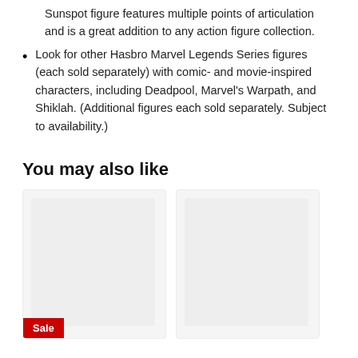Sunspot figure features multiple points of articulation and is a great addition to any action figure collection.
Look for other Hasbro Marvel Legends Series figures (each sold separately) with comic- and movie-inspired characters, including Deadpool, Marvel’s Warpath, and Shiklah. (Additional figures each sold separately. Subject to availability.)
You may also like
[Figure (photo): Product card 1 with a light gray placeholder image and a red Sale badge in the bottom left corner]
[Figure (photo): Product card 2 with a light gray placeholder image, no badge]